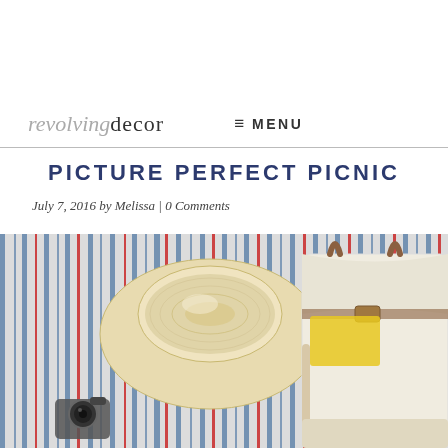revolving decor  ≡ MENU
PICTURE PERFECT PICNIC
July 7, 2016 by Melissa | 0 Comments
[Figure (photo): Overhead photo of a picnic scene on a blue, red and white striped blanket/fabric, featuring a white straw fedora hat in the center, a camera in the lower left, and a white and tan canvas bag with brown leather straps on the right side, with a yellow item partially visible inside the bag.]